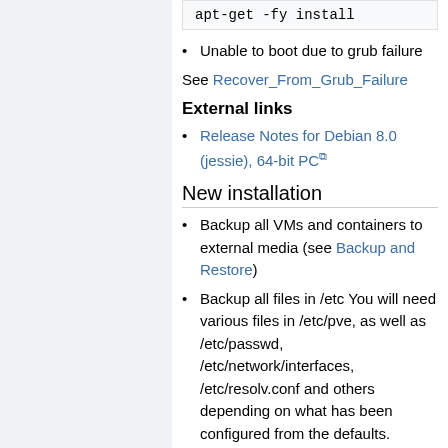apt-get -fy install
Unable to boot due to grub failure
See Recover_From_Grub_Failure
External links
Release Notes for Debian 8.0 (jessie), 64-bit PC
New installation
Backup all VMs and containers to external media (see Backup and Restore)
Backup all files in /etc You will need various files in /etc/pve, as well as /etc/passwd, /etc/network/interfaces, /etc/resolv.conf and others depending on what has been configured from the defaults.